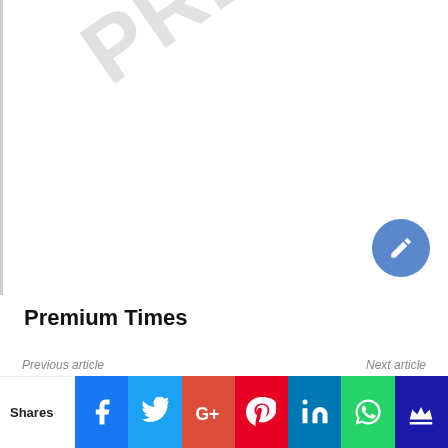[Figure (screenshot): White area with a diagonal 'PREM' watermark text in light grey, a left grey border, and a blue circular edit/pencil button in the bottom-right corner.]
Premium Times
Previous article
Next article
Tribunal Sacks Dino Melaye as
NBA-AGC 2019: Delegates Get
Shares